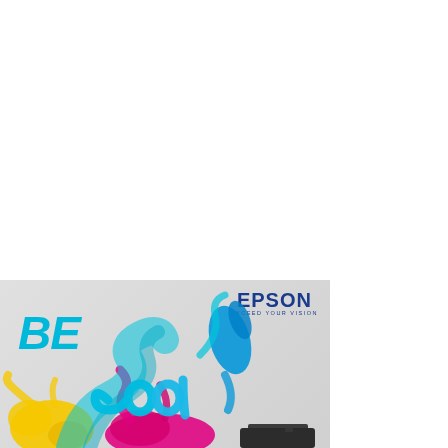[Figure (illustration): Epson advertisement showing colorful ink splashes (yellow, magenta/pink, cyan, blue) with bold italic 'BE cool' text. Epson logo with 'EXCEED YOUR VISION' tagline in top right. A printer device visible at bottom. Light gray background.]